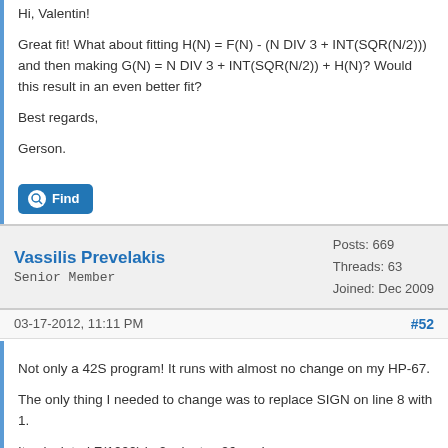Hi, Valentin!

Great fit! What about fitting H(N) = F(N) - (N DIV 3 + INT(SQR(N/2))) and then making G(N) = N DIV 3 + INT(SQR(N/2)) + H(N)? Would this result in an even better fit?

Best regards,

Gerson.
Find
Vassilis Prevelakis
Senior Member
Posts: 669
Threads: 63
Joined: Dec 2009
03-17-2012, 11:11 PM
#52
Not only a 42S program! It runs with almost no change on my HP-67.

The only thing I needed to change was to replace SIGN on line 8 with 1.

It calculated F(1000) in 2 minutes 26 sec!